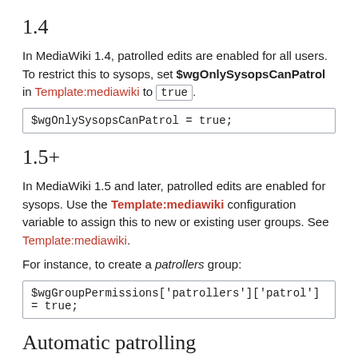1.4
In MediaWiki 1.4, patrolled edits are enabled for all users. To restrict this to sysops, set $wgOnlySysopsCanPatrol in Template:mediawiki to true.
1.5+
In MediaWiki 1.5 and later, patrolled edits are enabled for sysops. Use the Template:mediawiki configuration variable to assign this to new or existing user groups. See Template:mediawiki.
For instance, to create a patrollers group:
Automatic patrolling